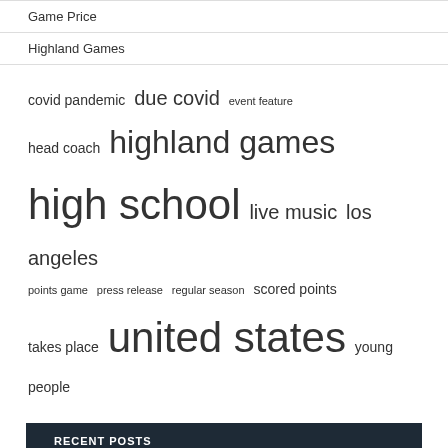Game Price
Highland Games
[Figure (infographic): Tag cloud with terms: covid pandemic, due covid, event feature, head coach, highland games, high school, live music, los angeles, points game, press release, regular season, scored points, takes place, united states, young people — displayed in varying font sizes indicating frequency]
RECENT POSTS
The Economic Impact of Olympic Host Cities
Kansas City Chiefs football is coming